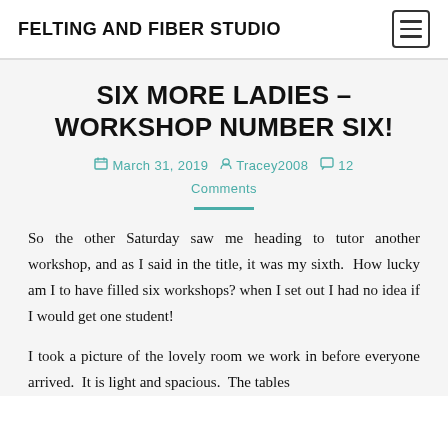FELTING AND FIBER STUDIO
SIX MORE LADIES – WORKSHOP NUMBER SIX!
March 31, 2019  Tracey2008  12 Comments
So the other Saturday saw me heading to tutor another workshop, and as I said in the title, it was my sixth.  How lucky am I to have filled six workshops?  when I set out I had no idea if I would get one student!
I took a picture of the lovely room we work in before everyone arrived.  It is light and spacious.  The tables